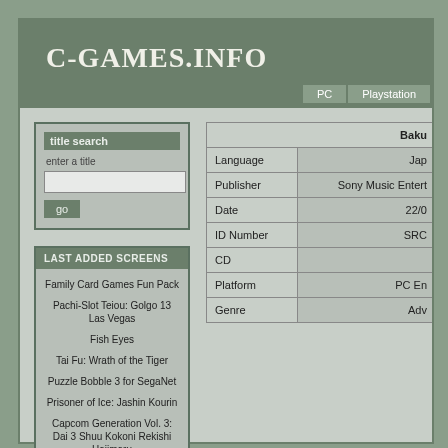C-GAMES.INFO
PC  Playstation
title search
enter a title
LAST ADDED SCREENS
Family Card Games Fun Pack
Pachi-Slot Teiou: Golgo 13 Las Vegas
Fish Eyes
Tai Fu: Wrath of the Tiger
Puzzle Bobble 3 for SegaNet
Prisoner of Ice: Jashin Kourin
Capcom Generation Vol. 3: Dai 3 Shuu Kokoni Rekishi Hajimaru
|  | Baku... |
| --- | --- |
| Language | Jap... |
| Publisher | Sony Music Entert... |
| Date | 22/0... |
| ID Number | SRC... |
| CD |  |
| Platform | PC En... |
| Genre | Adv... |